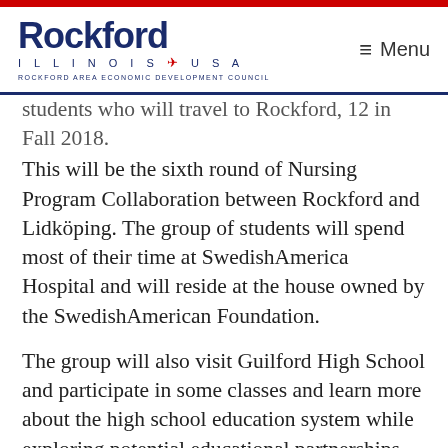[Figure (logo): Rockford Illinois USA logo with Rockford Area Economic Development Council text]
Menu
students who will travel to Rockford, 12 in Fall 2018. This will be the sixth round of Nursing Program Collaboration between Rockford and Lidköping. The group of students will spend most of their time at SwedishAmerica Hospital and will reside at the house owned by the SwedishAmerican Foundation.
The group will also visit Guilford High School and participate in some classes and learn more about the high school education system while exploring potential educational partnerships.
The partnership between Lidköping and Rockford